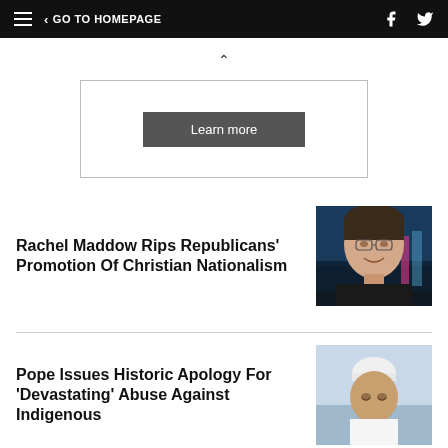GO TO HOMEPAGE
[Figure (other): Ad box with Learn more button]
Rachel Maddow Rips Republicans' Promotion Of Christian Nationalism
[Figure (photo): Photo of Rachel Maddow smiling, dark background with city lights]
Pope Issues Historic Apology For 'Devastating' Abuse Against Indigenous...
[Figure (photo): Photo of Pope Francis looking down, wearing white papal cap]